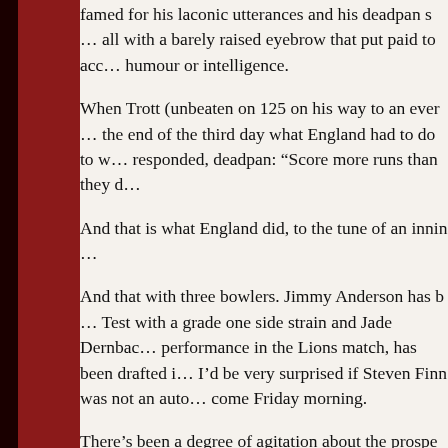famed for his laconic utterances and his deadpan style, doing it all with a barely raised eyebrow that put paid to accusations of lack of humour or intelligence.
When Trott (unbeaten on 125 on his way to an eventual 226) was asked at the end of the third day what England had to do to win the match, he responded, deadpan: “Score more runs than they do.”
And that is what England did, to the tune of an innings victory.
And that with three bowlers. Jimmy Anderson has been injured during the Test with a grade one side strain and Jade Dernbach, on the strength of his performance in the Lions match, has been drafted in as cover. Personally, I’d be very surprised if Steven Finn was not an automatic selection come Friday morning.
There’s been a degree of agitation about the prospect of yet another South African born player pulling on an England shirt – which people do need to get over – but it’s another man of South African descent who is England’s brightest star who is the real source of concern.
We’re talking about Kevin...(continues)